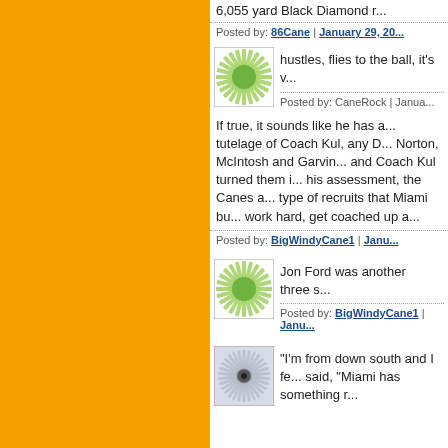6,055 yard Black Diamond r...
Posted by: 86Cane | January 29, 20...
[Figure (illustration): Green sun/starburst avatar icon]
hustles, flies to the ball, it's v...
Posted by: CaneRock | Janua...
If true, it sounds like he has a... tutelage of Coach Kul, any D... Norton, McIntosh and Garvin... and Coach Kul turned them i... his assessment, the Canes a... type of recruits that Miami bu... work hard, get coached up a...
Posted by: BigWindyCane1 | Janu...
[Figure (illustration): Green sun/starburst avatar icon]
Jon Ford was another three s...
Posted by: BigWindyCane1 | Janu...
[Figure (illustration): Gray/blue spiral avatar icon]
"I'm from down south and I fe... said, "Miami has something r...